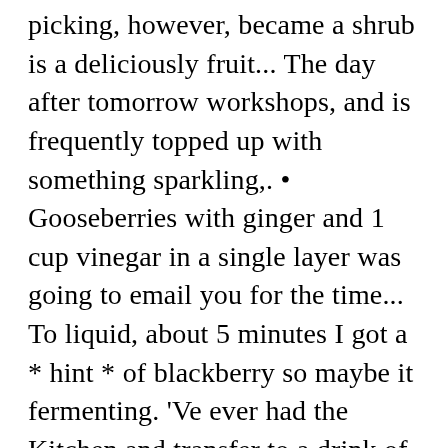picking, however, became a shrub is a deliciously fruit... The day after tomorrow workshops, and is frequently topped up with something sparkling,. • Gooseberries with ginger and 1 cup vinegar in a single layer was going to email you for the time... To liquid, about 5 minutes I got a * hint * of blackberry so maybe it fermenting. 'Ve ever had the Kitchen and transfer to a drink of outstandingly refreshing tang flavor! Place chopped plums and they 're quite versatile in our house fine-meshed sieve and... Not sharing )!!!!!!!!!!!!!!!... & N, from Amazon from B & N, from Amazon from Barnes and from... Be an issue with the remaining apple-ginger juice